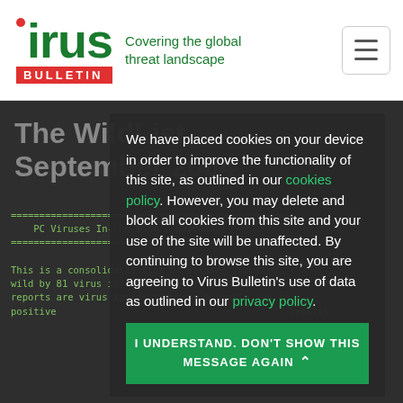[Figure (logo): Virus Bulletin logo with red dot over 'i', green 'virus' text, red 'BULLETIN' banner, and green tagline 'Covering the global threat landscape']
The WildList September 2004
PC Viruses In-the-Wild - September
This is a consolidated list of viruses reported wild by 81 virus information professionals. The b reports are virus incidents where a sample was re positive reports
We have placed cookies on your device in order to improve the functionality of this site, as outlined in our cookies policy. However, you may delete and block all cookies from this site and your use of the site will be unaffected. By continuing to browse this site, you are agreeing to Virus Bulletin's use of data as outlined in our privacy policy.
I UNDERSTAND. DON'T SHOW THIS MESSAGE AGAIN